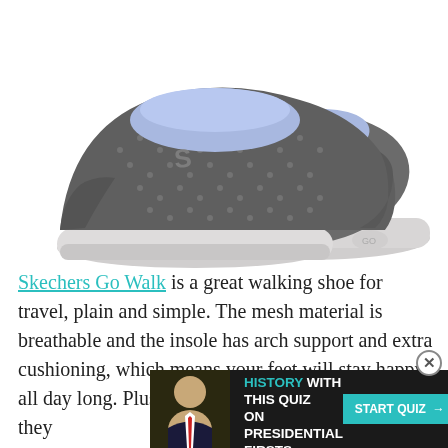[Figure (photo): Two gray and blue Skechers Go Walk slip-on shoes with mesh upper and light gray sole, photographed on white background]
Skechers Go Walk is a great walking shoe for travel, plain and simple. The mesh material is breathable and the insole has arch support and extra cushioning, which means your feet will stay happy all day long. Plus, they're easy to slip on and they [cut off] ase.
[Figure (infographic): Advertisement banner: 'MAKE HISTORY WITH THIS QUIZ ON PRESIDENTIAL FIRSTS' with a 'START QUIZ →' button and a photo of a person]